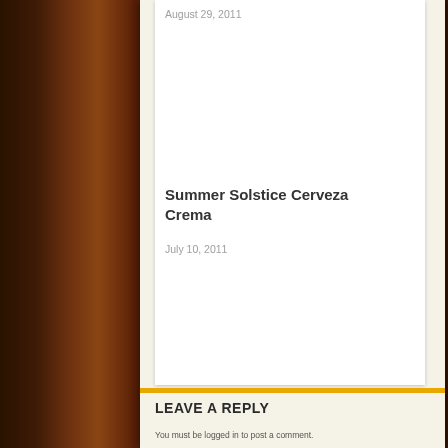August 29, 2011
Summer Solstice Cerveza Crema
July 10, 2011
LEAVE A REPLY
You must be logged in to post a comment.